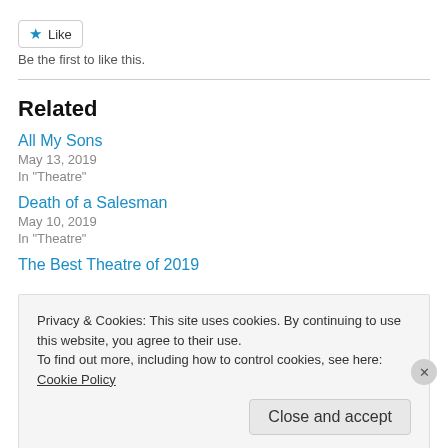[Figure (other): Like button with blue star icon and 'Like' text]
Be the first to like this.
Related
All My Sons
May 13, 2019
In "Theatre"
Death of a Salesman
May 10, 2019
In "Theatre"
The Best Theatre of 2019
Privacy & Cookies: This site uses cookies. By continuing to use this website, you agree to their use.
To find out more, including how to control cookies, see here: Cookie Policy
Close and accept